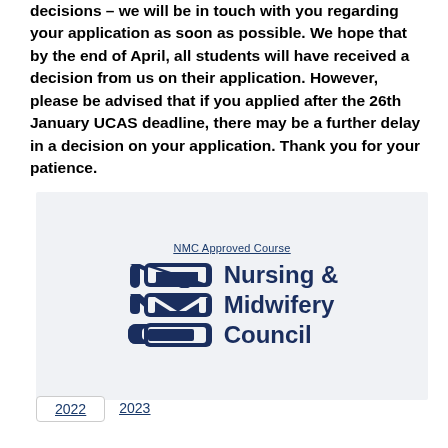decisions – we will be in touch with you regarding your application as soon as possible. We hope that by the end of April, all students will have received a decision from us on their application. However, please be advised that if you applied after the 26th January UCAS deadline, there may be a further delay in a decision on your application. Thank you for your patience.
[Figure (logo): NMC Approved Course badge with NMC logo — Nursing & Midwifery Council logo showing stylized NMC letters in dark navy and text 'Nursing & Midwifery Council']
2022   2023